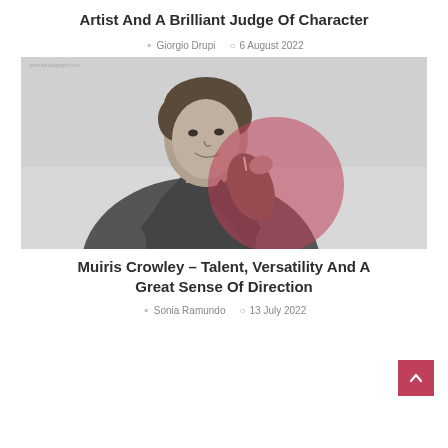Artist And A Brilliant Judge Of Character
Giorgio Drupi   6 August 2022
[Figure (photo): Black and white photo of a young man in a leather jacket smiling, with a large pink/red semi-transparent circle overlaid on the center of the image]
Muiris Crowley – Talent, Versatility And A Great Sense Of Direction
Sonia Ramundo   13 July 2022